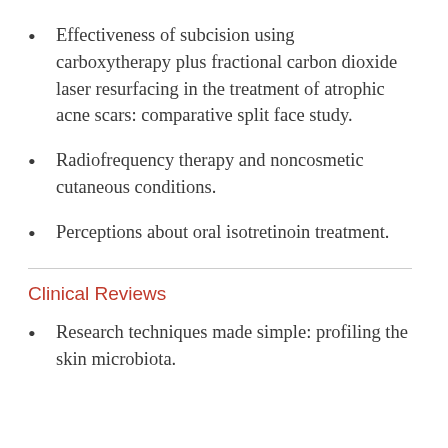Effectiveness of subcision using carboxytherapy plus fractional carbon dioxide laser resurfacing in the treatment of atrophic acne scars: comparative split face study.
Radiofrequency therapy and noncosmetic cutaneous conditions.
Perceptions about oral isotretinoin treatment.
Clinical Reviews
Research techniques made simple: profiling the skin microbiota.